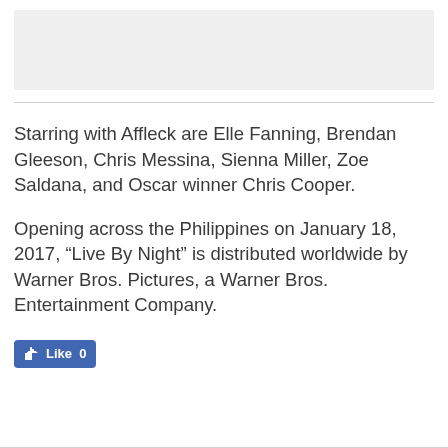[Figure (other): Gray rectangle placeholder image at top of page]
Starring with Affleck are Elle Fanning, Brendan Gleeson, Chris Messina, Sienna Miller, Zoe Saldana, and Oscar winner Chris Cooper.
Opening across the Philippines on January 18, 2017, “Live By Night” is distributed worldwide by Warner Bros. Pictures, a Warner Bros. Entertainment Company.
[Figure (other): Facebook Like button showing 0 likes]